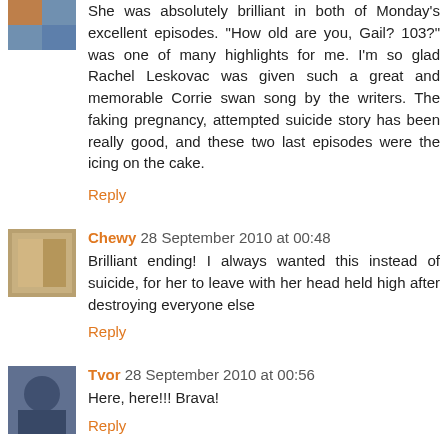She was absolutely brilliant in both of Monday's excellent episodes. "How old are you, Gail? 103?" was one of many highlights for me. I'm so glad Rachel Leskovac was given such a great and memorable Corrie swan song by the writers. The faking pregnancy, attempted suicide story has been really good, and these two last episodes were the icing on the cake.
Reply
Chewy 28 September 2010 at 00:48
Brilliant ending! I always wanted this instead of suicide, for her to leave with her head held high after destroying everyone else
Reply
Tvor 28 September 2010 at 00:56
Here, here!!! Brava!
Reply